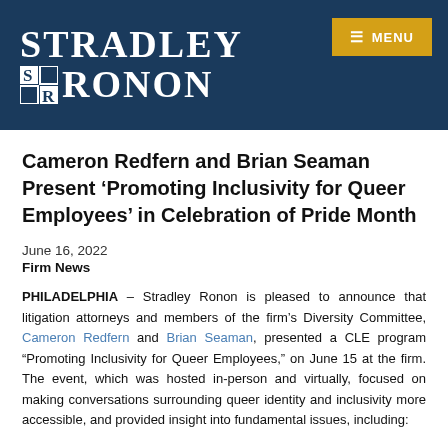[Figure (logo): Stradley Ronon law firm logo in white text on dark navy background, with SR icon, and a yellow MENU button in the top right corner]
Cameron Redfern and Brian Seaman Present ‘Promoting Inclusivity for Queer Employees’ in Celebration of Pride Month
June 16, 2022
Firm News
PHILADELPHIA – Stradley Ronon is pleased to announce that litigation attorneys and members of the firm’s Diversity Committee, Cameron Redfern and Brian Seaman, presented a CLE program “Promoting Inclusivity for Queer Employees,” on June 15 at the firm. The event, which was hosted in-person and virtually, focused on making conversations surrounding queer identity and inclusivity more accessible, and provided insight into fundamental issues, including: